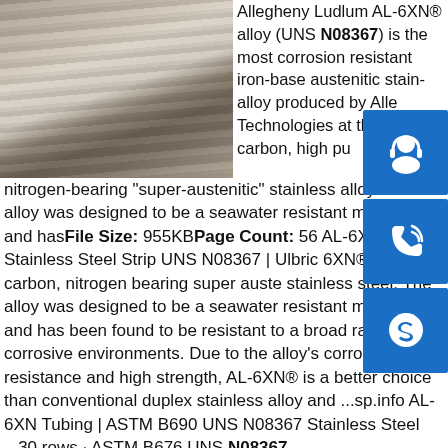[Figure (photo): Stack of metal plates (AL-6XN stainless steel sheets) photographed from the side showing layered edges]
Allegheny Ludlum AL-6XN® alloy (UNS N08367) is the most corrosion resistant iron-base austenitic stain- alloy produced by Alle Technologies at this t a low carbon, high pu nitrogen-bearing "super-austenitic" stainless alloy. 6XN alloy was designed to be a seawater resistant material and has File Size: 955KB Page Count: 56 AL-6XN Stainless Steel Strip UNS N08367 | Ulbric 6XN® is low carbon, nitrogen bearing super auste stainless steel. The alloy was designed to be a seawater resistant material and has been found to be resistant to a broad range of corrosive environments. Due to the alloy's corrosion resistance and high strength, AL-6XN® is a better choice than conventional duplex stainless alloy and ...sp.info AL-6XN Tubing | ASTM B690 UNS N08367 Stainless Steel ...30 rows · ASTM B676 UNS N08367